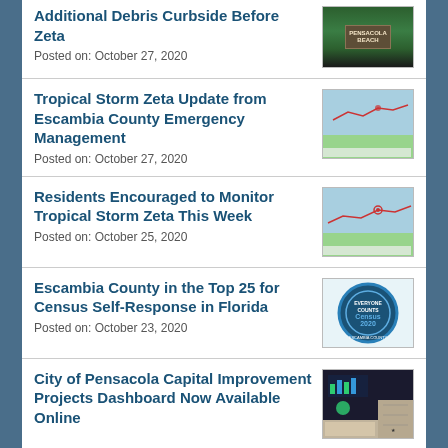Additional Debris Curbside Before Zeta
Posted on: October 27, 2020
Tropical Storm Zeta Update from Escambia County Emergency Management
Posted on: October 27, 2020
Residents Encouraged to Monitor Tropical Storm Zeta This Week
Posted on: October 25, 2020
Escambia County in the Top 25 for Census Self-Response in Florida
Posted on: October 23, 2020
City of Pensacola Capital Improvement Projects Dashboard Now Available Online